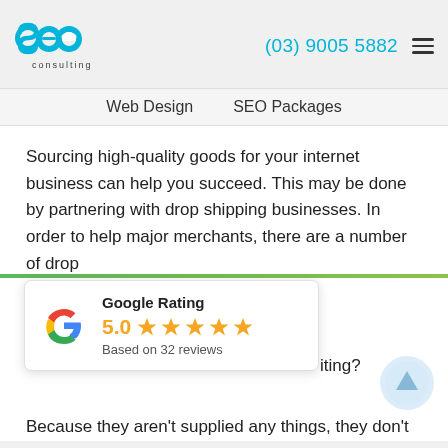[Figure (logo): SEO Consulting logo — stylized blue 'seo' letters with cloud icon, 'consulting' text below]
(03) 9005 5882
Web Design   SEO Packages
Sourcing high-quality goods for your internet business can help you succeed. This may be done by partnering with drop shipping businesses. In order to help major merchants, there are a number of drop
[Figure (infographic): Google Rating widget showing 5.0 stars based on 32 reviews, with Google G logo]
iting?
Because they aren't supplied any things, they don't